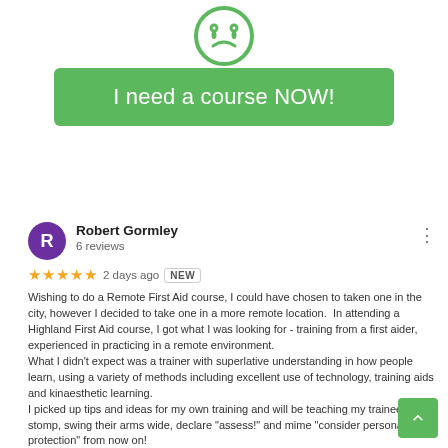[Figure (illustration): Green circle icon with a sad/confused face and teardrop, outlined in green]
[Figure (other): Green rounded rectangle button with white text: 'I need a course NOW!']
Robert Gormley
6 reviews
★★★★★  2 days ago  NEW
Wishing to do a Remote First Aid course, I could have chosen to taken one in the city, however I decided to take one in a more remote location.  In attending a Highland First Aid course, I got what I was looking for - training from a first aider, experienced in practicing in a remote environment.
What I didn't expect was a trainer with superlative understanding in how people learn, using a variety of methods including excellent use of technology, training aids and kinaesthetic learning.
I picked up tips and ideas for my own training and will be teaching my trainees to stomp, swing their arms wide, declare "assess!" and mime "consider personal protection" from now on!
👍 1